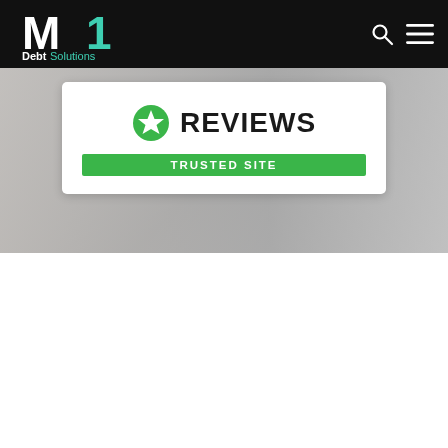M1 Debt Solutions
[Figure (logo): M1 Debt Solutions logo — white M1 icon with teal/green 'DebtSolutions' text on black navigation bar]
[Figure (screenshot): Reviews.io Trusted Site badge — green star icon with 'REVIEWS' text and green 'TRUSTED SITE' bar, on white card overlaid on a grey background hero image]